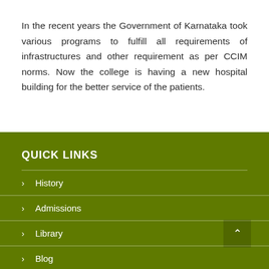In the recent years the Government of Karnataka took various programs to fulfill all requirements of infrastructures and other requirement as per CCIM norms. Now the college is having a new hospital building for the better service of the patients.
QUICK LINKS
History
Admissions
Library
Blog